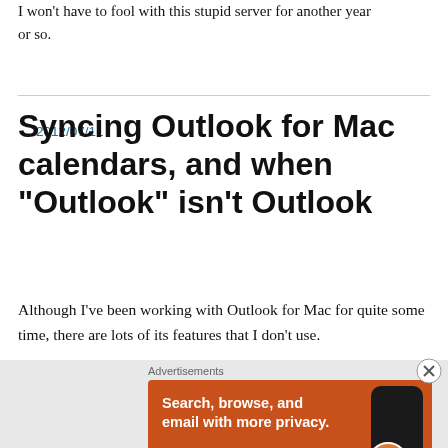I won't have to fool with this stupid server for another year or so.
2012/07/11
Syncing Outlook for Mac calendars, and when “Outlook” isn’t Outlook
Although I’ve been working with Outlook for Mac for quite some time, there are lots of its features that I don’t use.
[Figure (screenshot): DuckDuckGo advertisement banner with orange background, text 'Search, browse, and email with more privacy. All in One Free App', phone graphic, and DuckDuckGo logo]